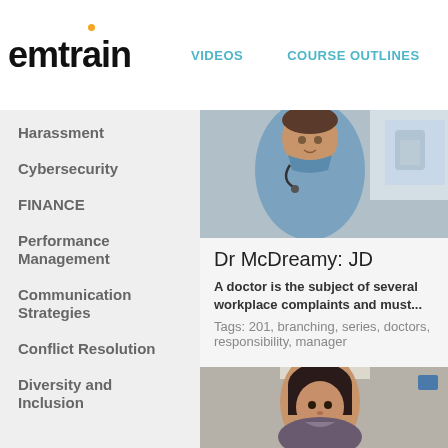[Figure (logo): emtrain logo with orange dot over letter i]
VIDEOS   COURSE OUTLINES
Harassment
Cybersecurity
FINANCE
Performance Management
Communication Strategies
Conflict Resolution
Diversity and Inclusion
[Figure (photo): A male doctor in blue scrubs with a stethoscope]
Dr McDreamy: JD
A doctor is the subject of several workplace complaints and must...
Tags: 201, branching, series, doctors, responsibility, manager
[Figure (photo): A woman with dark hair in a medical or office setting]